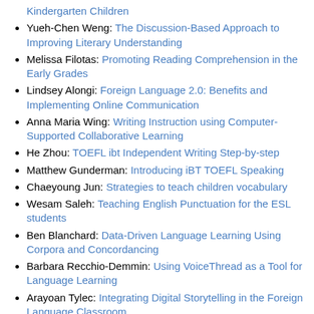Kindergarten Children
Yueh-Chen Weng: The Discussion-Based Approach to Improving Literary Understanding
Melissa Filotas: Promoting Reading Comprehension in the Early Grades
Lindsey Alongi: Foreign Language 2.0: Benefits and Implementing Online Communication
Anna Maria Wing: Writing Instruction using Computer-Supported Collaborative Learning
He Zhou: TOEFL ibt Independent Writing Step-by-step
Matthew Gunderman: Introducing iBT TOEFL Speaking
Chaeyoung Jun: Strategies to teach children vocabulary
Wesam Saleh: Teaching English Punctuation for the ESL students
Ben Blanchard: Data-Driven Language Learning Using Corpora and Concordancing
Barbara Recchio-Demmin: Using VoiceThread as a Tool for Language Learning
Arayoan Tylec: Integrating Digital Storytelling in the Foreign Language Classroom